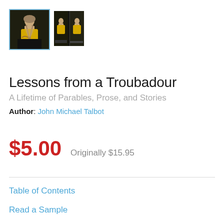[Figure (photo): Two thumbnail images of the book 'Lessons from a Troubadour' — a larger main thumbnail with a blue border showing the front cover featuring an elderly man with long beard in a yellow garment, and a smaller secondary thumbnail showing front and back covers]
Lessons from a Troubadour
A Lifetime of Parables, Prose, and Stories
Author: John Michael Talbot
$5.00  Originally $15.95
Table of Contents
Read a Sample